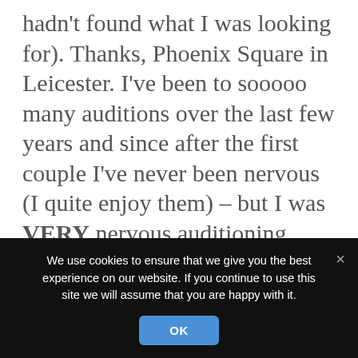hadn't found what I was looking for). Thanks, Phoenix Square in Leicester. I've been to sooooo many auditions over the last few years and since after the first couple I've never been nervous (I quite enjoy them) – but I was VERY nervous auditioning actors myself though! I felt very aware that they had come a long way and learned a script already and I wanted to not be quick to dismiss someone who might just be a bit shy or nervous. I spent about 20 minutes or
We use cookies to ensure that we give you the best experience on our website. If you continue to use this site we will assume that you are happy with it.
OK